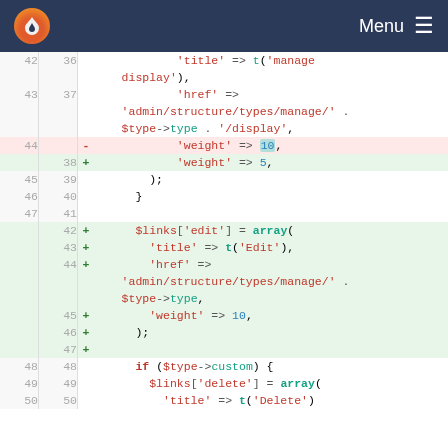[Figure (screenshot): Navigation bar with flame/droplet logo and Menu hamburger button on dark blue background]
[Figure (screenshot): Code diff view showing PHP code changes. Line 42-50 visible with removed line (weight=>10) and added lines including $links['edit'] array and $links['delete'] array]